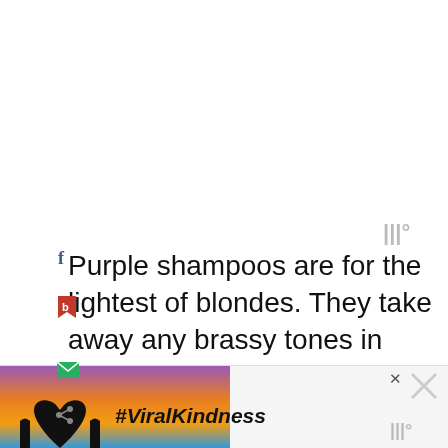[Figure (other): Watermark/logo top right area]
Purple shampoos are for the lightest of blondes. They take away any brassy tones in your hair, letting your fair locks shine.
If you feel your hair could use a little (or a lot) less brass, this is what you should go for. It'll also work on darker hair, but it'll just tone down any yellow/red-ish hues you might have, it won't magically make you a bright
[Figure (other): Social share sidebar: heart button, SHARES label, 145 count, share icon]
[Figure (photo): Ad banner at bottom: hands forming heart shape with #ViralKindness text on colorful sunset background]